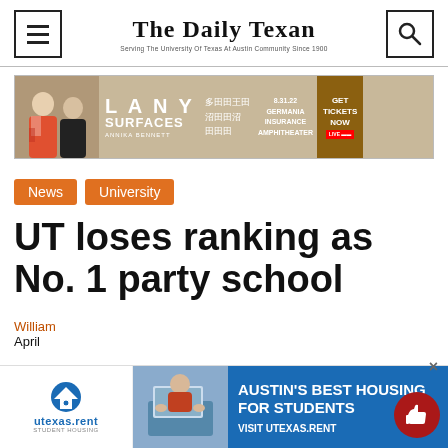The Daily Texan — Serving The University Of Texas At Austin Community Since 1900
[Figure (advertisement): LANY Surfaces Annika Bennett concert ad — 8.31.22 Germania Insurance Amphitheater — Get Tickets Now]
News
University
UT loses ranking as No. 1 party school
William... April...
[Figure (advertisement): Austin's Best Housing For Students — Visit utexas.rent — utexas.rent Student Housing ad with photo]